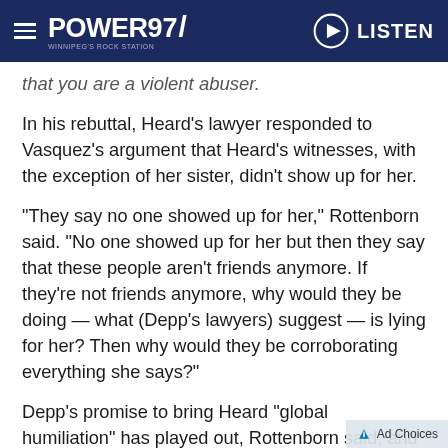POWER 97 | LISTEN
that you are a violent abuser.
In his rebuttal, Heard's lawyer responded to Vasquez's argument that Heard's witnesses, with the exception of her sister, didn't show up for her.
“They say no one showed up for her,” Rottenborn said. “No one showed up for her but then they say that these people aren’t friends anymore. If they’re not friends anymore, why would they be doing — what (Depp’s lawyers) suggest — is lying for her? Then why would they be corroborating everything she says?”
Depp’s promise to bring Heard “global humiliation” has played out, Rottenborn said, and once Depp’s former lawyer Adam Waldman became involved, and accused Heard of creating an “abuse